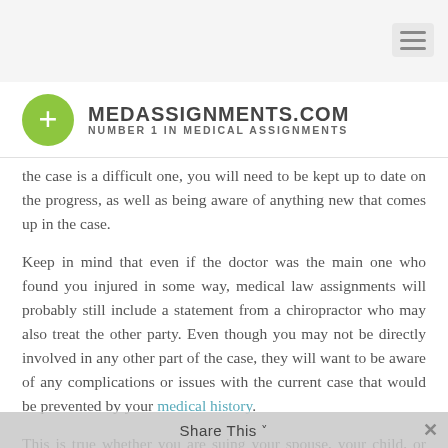[Figure (logo): MedAssignments.com logo — green circle with white plus sign, bold text MEDASSIGNMENTS.COM, subtitle NUMBER 1 IN MEDICAL ASSIGNMENTS]
the case is a difficult one, you will need to be kept up to date on the progress, as well as being aware of anything new that comes up in the case.
Keep in mind that even if the doctor was the main one who found you injured in some way, medical law assignments will probably still include a statement from a chiropractor who may also treat the other party. Even though you may not be directly involved in any other part of the case, they will want to be aware of any complications or issues with the current case that would be prevented by your medical history.
This is true whether you are suing your spouse, your child, or anyone else. The more you realize that yo...